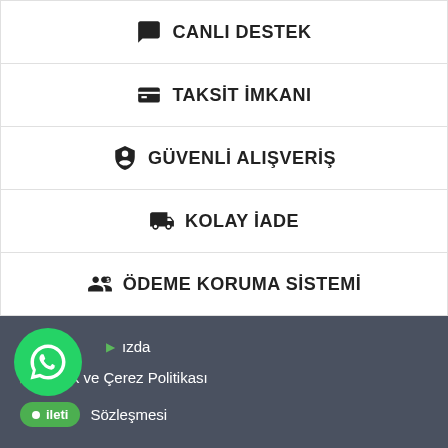💬 CANLI DESTEK
🃏 TAKSİT İMKANI
🔒 GÜVENLİ ALIŞVERİŞ
📦 KOLAY İADE
👤 ÖDEME KORUMA SİSTEMİ
Hakkımızda
Gizlilik ve Çerez Politikası
İleti Sözleşmesi